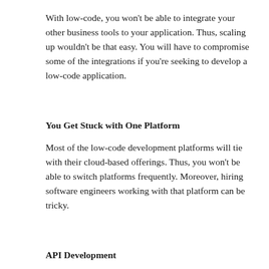With low-code, you won't be able to integrate your other business tools to your application. Thus, scaling up wouldn't be that easy. You will have to compromise some of the integrations if you're seeking to develop a low-code application.
You Get Stuck with One Platform
Most of the low-code development platforms will tie with their cloud-based offerings. Thus, you won't be able to switch platforms frequently. Moreover, hiring software engineers working with that platform can be tricky.
API Development
With low-code development, you won't be able to